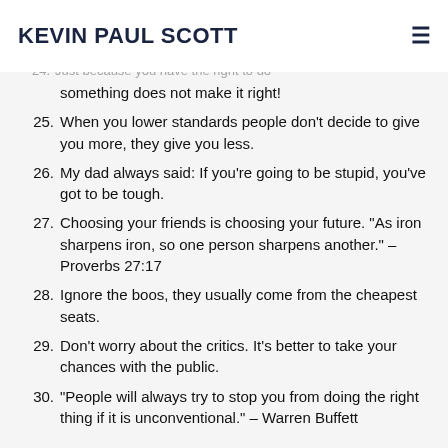KEVIN PAUL SCOTT
24. Just because you have the right to do something does not make it right!
25. When you lower standards people don’t decide to give you more, they give you less.
26. My dad always said: If you’re going to be stupid, you’ve got to be tough.
27. Choosing your friends is choosing your future. “As iron sharpens iron, so one person sharpens another.” – Proverbs 27:17
28. Ignore the boos, they usually come from the cheapest seats.
29. Don’t worry about the critics. It’s better to take your chances with the public.
30. “People will always try to stop you from doing the right thing if it is unconventional.” – Warren Buffett